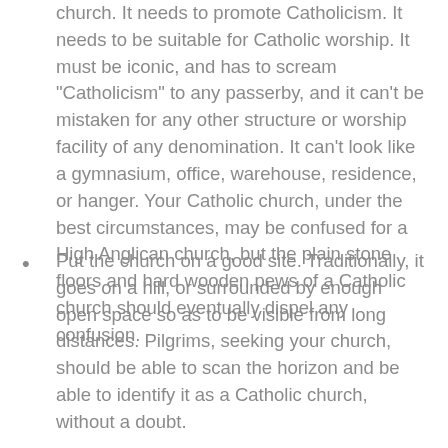church. It needs to promote Catholicism. It needs to be suitable for Catholic worship. It must be iconic, and has to scream "Catholicism" to any passerby, and it can't be mistaken for any other structure or worship facility of any denomination. It can't look like a gymnasium, office, warehouse, residence, or hanger. Your Catholic church, under the best circumstances, may be confused for a High Anglican church, but the plain stone floors and hard wooden pews of a Catholic church should eventually dispel any confusion.
Put the church on a good site. Traditionally, it goes on a hill, or surrounded by enough open space so as to be visible from long distances. Pilgrims, seeking your church, should be able to scan the horizon and be able to identify it as a Catholic church, without a doubt.
Put in obvious Catholic symbols, not just vague